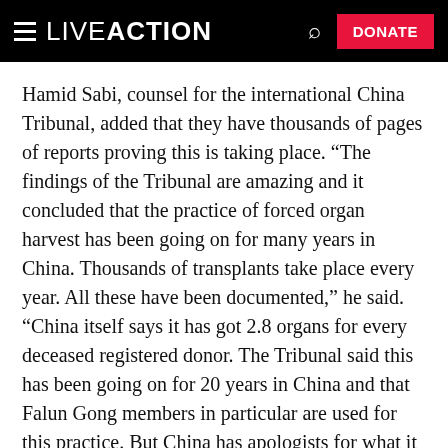LIVE ACTION | DONATE
Hamid Sabi, counsel for the international China Tribunal, added that they have thousands of pages of reports proving this is taking place. “The findings of the Tribunal are amazing and it concluded that the practice of forced organ harvest has been going on for many years in China. Thousands of transplants take place every year. All these have been documented,” he said. “China itself says it has got 2.8 organs for every deceased registered donor. The Tribunal said this has been going on for 20 years in China and that Falun Gong members in particular are used for this practice. But China has apologists for what it does who do not come out and condemn China. This has allowed China to escape public